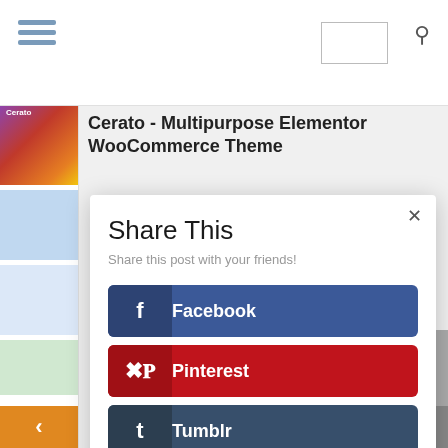[Figure (screenshot): Website header with hamburger menu icon, search box, and search icon on a white top bar]
Cerato - Multipurpose Elementor WooCommerce Theme
Share This
Share this post with your friends!
Facebook
Pinterest
Tumblr
Twitter
LinkedIn